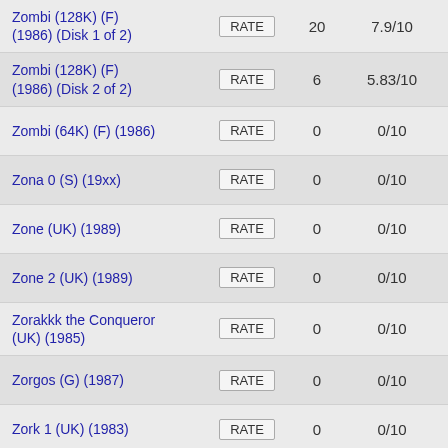| Game | Action | Votes | Score |
| --- | --- | --- | --- |
| Zombi (128K) (F) (1986) (Disk 1 of 2) | RATE | 20 | 7.9/10 |
| Zombi (128K) (F) (1986) (Disk 2 of 2) | RATE | 6 | 5.83/10 |
| Zombi (64K) (F) (1986) | RATE | 0 | 0/10 |
| Zona 0 (S) (19xx) | RATE | 0 | 0/10 |
| Zone (UK) (1989) | RATE | 0 | 0/10 |
| Zone 2 (UK) (1989) | RATE | 0 | 0/10 |
| Zorakkk the Conqueror (UK) (1985) | RATE | 0 | 0/10 |
| Zorgos (G) (1987) | RATE | 0 | 0/10 |
| Zork 1 (UK) (1983) | RATE | 0 | 0/10 |